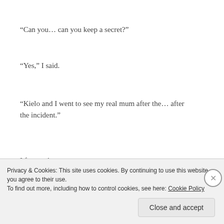“Can you… can you keep a secret?”
“Yes,” I said.
“Kielo and I went to see my real mum after the… after the incident.”
I frowned.
“I thought you said it’s better you didn’t. That she’d
Privacy & Cookies: This site uses cookies. By continuing to use this website, you agree to their use.
To find out more, including how to control cookies, see here: Cookie Policy